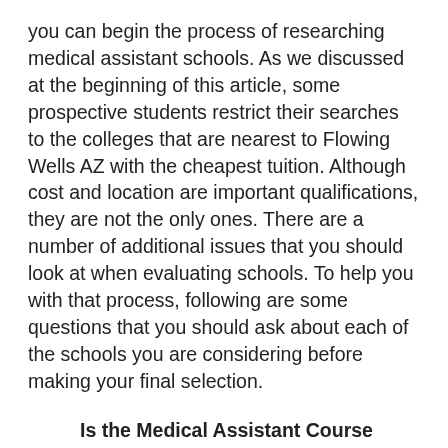you can begin the process of researching medical assistant schools. As we discussed at the beginning of this article, some prospective students restrict their searches to the colleges that are nearest to Flowing Wells AZ with the cheapest tuition. Although cost and location are important qualifications, they are not the only ones. There are a number of additional issues that you should look at when evaluating schools. To help you with that process, following are some questions that you should ask about each of the schools you are considering before making your final selection.
Is the Medical Assistant Course Accredited? There are several great reasons to verify that the college you enroll in is accredited. To start with, accreditation helps guarantee that the education you receive will be both extensive and of the highest quality. Second, if you intend to become certified, you must enroll in an accredited program. Two of the accepted organizations for accreditation are the Accrediting Bureau of Health